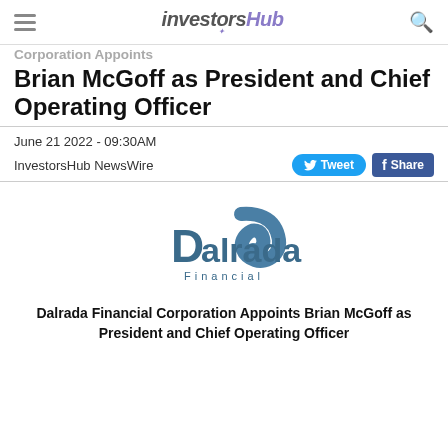InvestorsHub
Corporation Appoints Brian McGoff as President and Chief Operating Officer
June 21 2022 - 09:30AM
InvestorsHub NewsWire
[Figure (logo): Dalrada Financial logo — stylized arch above text 'Dalrada Financial' in dark teal/blue-grey]
Dalrada Financial Corporation Appoints Brian McGoff as President and Chief Operating Officer